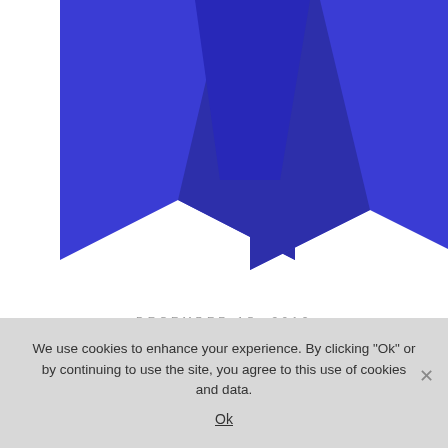[Figure (illustration): Blue award ribbon tails/streamers shown from below, with pointed chevron cuts at the bottom, displayed in the upper portion of the page on a white background.]
DECEMBER 15, 2012
SIGN UP STUDY ISLAND HIGH SCHOOL
BE FIRST TO COMMENT
We use cookies to enhance your experience. By clicking "Ok" or by continuing to use the site, you agree to this use of cookies and data.
Ok